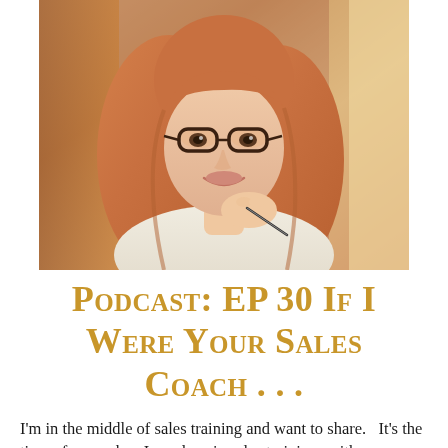[Figure (photo): Portrait photo of a smiling woman with long reddish-blonde hair and cat-eye glasses, resting her chin on her hand, seated in a warm wood-toned interior setting.]
Podcast: EP 30 If I Were Your Sales Coach . . .
I'm in the middle of sales training and want to share.   It's the time of year when I am deep in sales trainings with my clients